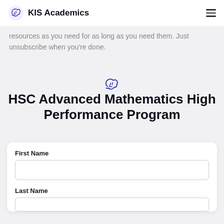KIS Academics
resources as you need for as long as you need them. Just unsubscribe when you're done.
[Figure (logo): Purple brain icon logo centered on page]
HSC Advanced Mathematics High Performance Program
First Name
Last Name